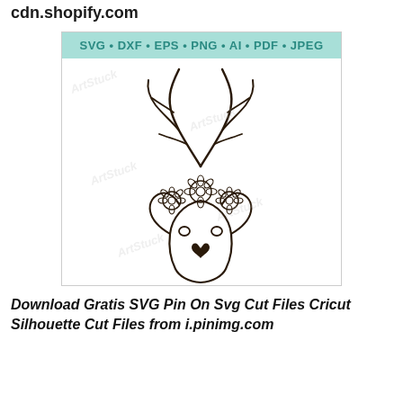cdn.shopify.com
[Figure (illustration): A line-art illustration of a deer face with antlers and a floral crown. The image includes a teal banner at the top reading 'SVG • DXF • EPS • PNG • AI • PDF • JPEG'. Watermarks reading 'ArtStuck' are overlaid across the image.]
Download Gratis SVG Pin On Svg Cut Files Cricut Silhouette Cut Files from i.pinimg.com